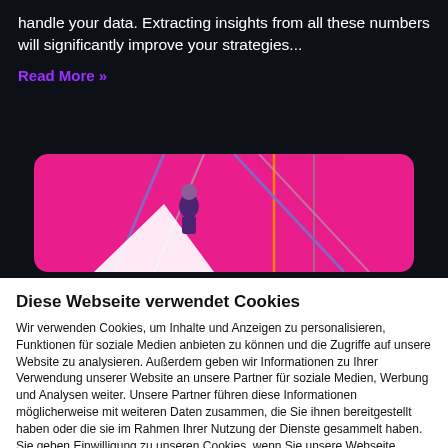handle your data. Extracting insights from all these numbers will significantly improve your strategies...
Read More »
[Figure (illustration): Pink/magenta rounded rectangle banner with colorful diagonal lines and a small character figure in the center-left area.]
Diese Webseite verwendet Cookies
Wir verwenden Cookies, um Inhalte und Anzeigen zu personalisieren, Funktionen für soziale Medien anbieten zu können und die Zugriffe auf unsere Website zu analysieren. Außerdem geben wir Informationen zu Ihrer Verwendung unserer Website an unsere Partner für soziale Medien, Werbung und Analysen weiter. Unsere Partner führen diese Informationen möglicherweise mit weiteren Daten zusammen, die Sie ihnen bereitgestellt haben oder die sie im Rahmen Ihrer Nutzung der Dienste gesammelt haben. Sie geben Einwilligung zu unseren Cookies, wenn Sie unsere Webseite weiterhin nutzen.
Nur notwendige Cookies verwenden
Cookies zulassen
Details zeigen